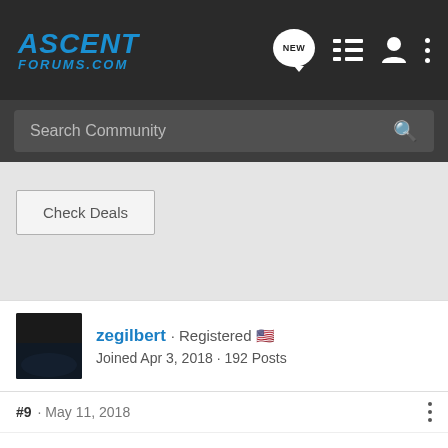ASCENT FORUMS.COM
Search Community
Check Deals
zegilbert · Registered 🇺🇸
Joined Apr 3, 2018 · 192 Posts
#9 · May 11, 2018
I've been running the Thule T2 Pro XT for about a year. I chose this specifically over several others for several reasons: 1) Tray style to [ad overlay] styles, 2) Whee[ad overlay]-based
[Figure (screenshot): Nitto Nomad Grappler All-New Crossover-Terrain Tire advertisement banner with dark background, tire image, and truck]